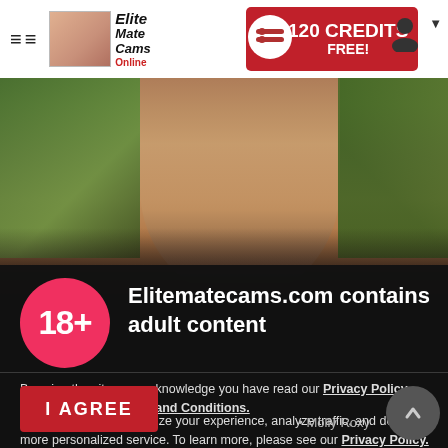≡≡ Elite Mate Cams Online | 120 CREDITS FREE!
[Figure (photo): Woman with tattoo photographed outdoors against a background of trees and sky]
Elitematecams.com contains adult content
By using the site, you acknowledge you have read our Privacy Policy, and agree to our Terms and Conditions.
We use cookies to optimize your experience, analyze traffic, and deliver more personalized service. To learn more, please see our Privacy Policy.
I AGREE